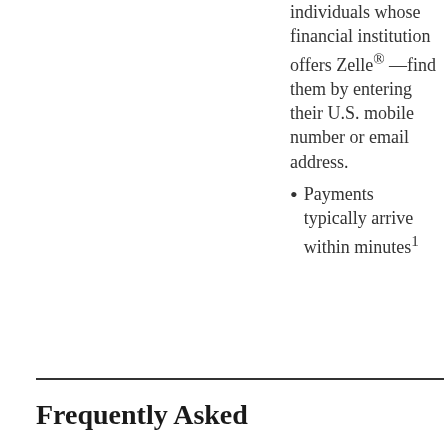individuals whose financial institution offers Zelle® —find them by entering their U.S. mobile number or email address.
Payments typically arrive within minutes¹
Frequently Asked